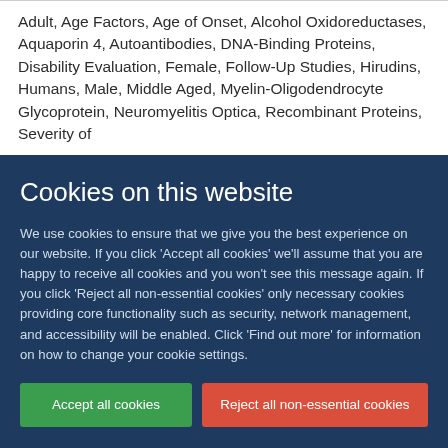Adult, Age Factors, Age of Onset, Alcohol Oxidoreductases, Aquaporin 4, Autoantibodies, DNA-Binding Proteins, Disability Evaluation, Female, Follow-Up Studies, Hirudins, Humans, Male, Middle Aged, Myelin-Oligodendrocyte Glycoprotein, Neuromyelitis Optica, Recombinant Proteins, Severity of
Cookies on this website
We use cookies to ensure that we give you the best experience on our website. If you click 'Accept all cookies' we'll assume that you are happy to receive all cookies and you won't see this message again. If you click 'Reject all non-essential cookies' only necessary cookies providing core functionality such as security, network management, and accessibility will be enabled. Click 'Find out more' for information on how to change your cookie settings.
Accept all cookies
Reject all non-essential cookies